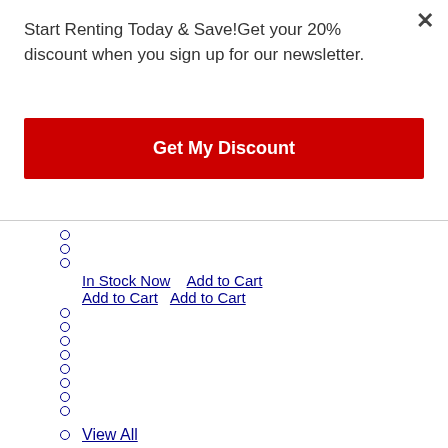Start Renting Today & Save!Get your 20% discount when you sign up for our newsletter.
Get My Discount
In Stock Now Add to Cart Add to CartAdd to Cart
View All
1 - 32 of 33